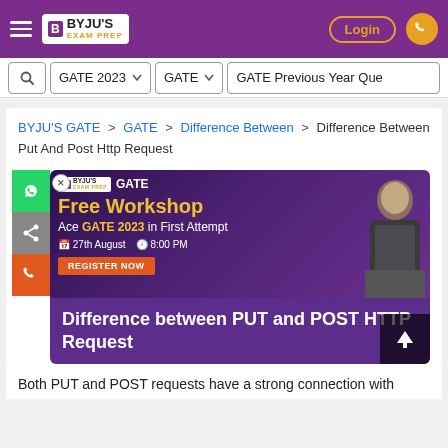BYJU'S EXAM PREP — Navigation bar with Login and phone icon
GATE 2023  ∨   GATE  ∨   GATE Previous Year Ques
BYJU'S GATE > GATE > Difference Between > Difference Between Put And Post Http Request
[Figure (other): Banner ad for BYJU'S GATE Free Workshop — Ace GATE 2023 in First Attempt — 27th August 8:00 PM — REGISTER NOW button — with man holding book image — overlaid by purple title bar: Difference between PUT and POST HTTP Request]
Both PUT and POST requests have a strong connection with